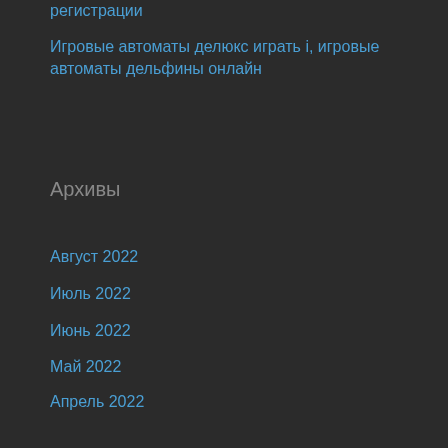регистрации
Игровые автоматы делюкс играть i, игровые автоматы дельфины онлайн
Архивы
Август 2022
Июль 2022
Июнь 2022
Май 2022
Апрель 2022
Март 2022
Февраль 2022
Январь 2022
Декабрь 2021